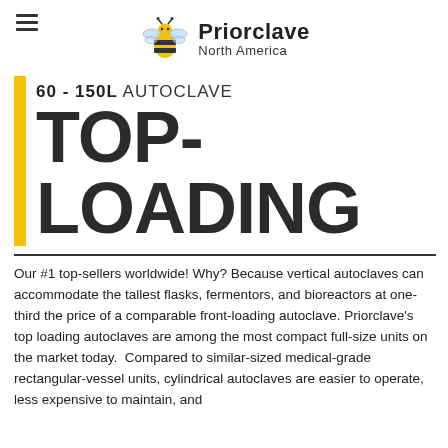[Figure (logo): Priorclave North America logo with bee icon]
60 - 150L AUTOCLAVE TOP-LOADING
Our #1 top-sellers worldwide! Why? Because vertical autoclaves can accommodate the tallest flasks, fermentors, and bioreactors at one-third the price of a comparable front-loading autoclave. Priorclave's top loading autoclaves are among the most compact full-size units on the market today. Compared to similar-sized medical-grade rectangular-vessel units, cylindrical autoclaves are easier to operate, less expensive to maintain, and